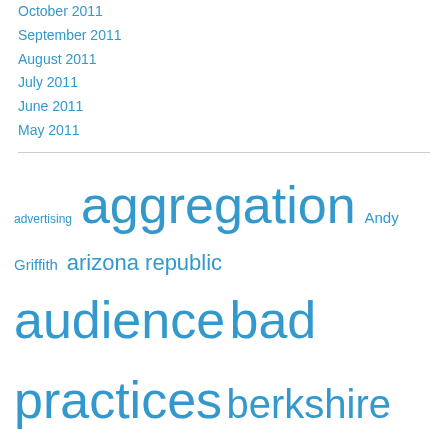October 2011
September 2011
August 2011
July 2011
June 2011
May 2011
advertising aggregation Andy Griffith arizona republic audience bad practices berkshire hathaway brand/reputation Buckeye Balls Citizen-Journal Clay Shirky clickbait crowdsourcing curation curmudgeons database David Brooks David Carr Democrat-Gazette Digital First Media disruption Earl Wilkinson engagement Facebook future